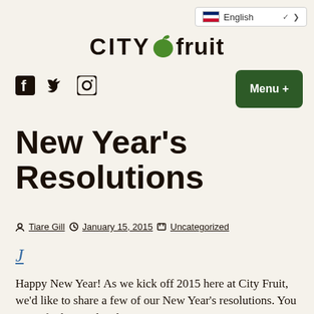English (language selector)
[Figure (logo): CITYfruit logo with a green apple replacing the letter A in CITY]
Social media icons (Facebook, Twitter, Instagram) and Menu + button
New Year’s Resolutions
By Tiare Gill | January 15, 2015 | Uncategorized
J
Happy New Year! As we kick off 2015 here at City Fruit, we’d like to share a few of our New Year’s resolutions. You won’t find any related to getting